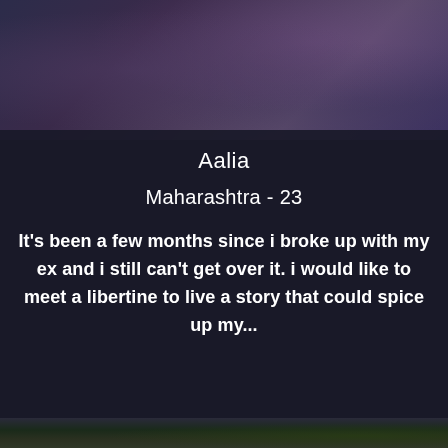[Figure (photo): Blurred background photo of person, dark blue/purple tones, upper half]
Aalia
Maharashtra - 23
It's been a few months since i broke up with my ex and i still can't get over it. i would like to meet a libertine to live a story that could spice up my...
[Figure (photo): Blurred background photo, dark greenish tones, bottom strip]